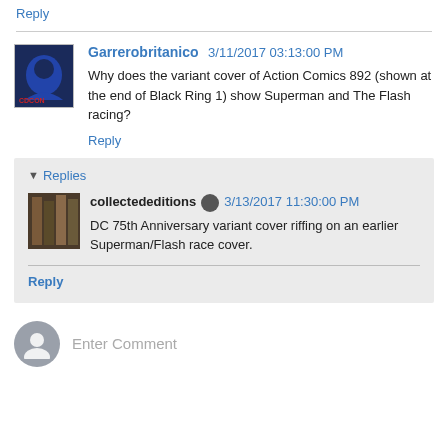Reply
Garrerobritanico 3/11/2017 03:13:00 PM
Why does the variant cover of Action Comics 892 (shown at the end of Black Ring 1) show Superman and The Flash racing?
Reply
Replies
collectededitions 3/13/2017 11:30:00 PM
DC 75th Anniversary variant cover riffing on an earlier Superman/Flash race cover.
Reply
Enter Comment